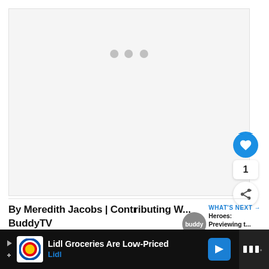[Figure (other): Loading media area with three grey dots indicating content loading, light grey background]
[Figure (other): Blue circular like/heart button with count of 1, and a share button below]
By Meredith Jacobs | Contributing W... BuddyTV
[Figure (other): What's Next promo with BuddyTV avatar and text: Heroes: Previewing t...]
[Figure (other): Lidl advertisement banner: Lidl Groceries Are Low-Priced / Lidl]